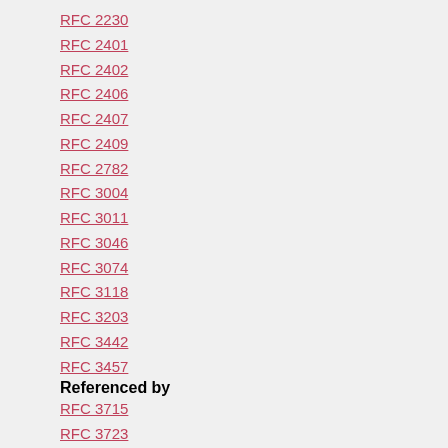RFC 2230
RFC 2401
RFC 2402
RFC 2406
RFC 2407
RFC 2409
RFC 2782
RFC 3004
RFC 3011
RFC 3046
RFC 3074
RFC 3118
RFC 3203
RFC 3442
RFC 3457
Referenced by
RFC 3715
RFC 3723
RFC 3821
RFC 5265
RFC 5494